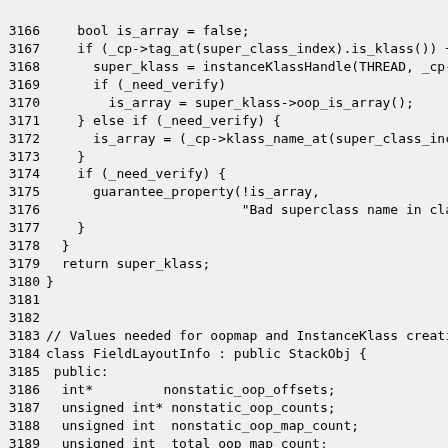[Figure (screenshot): Source code snippet showing C++ code lines 3166-3195, including a function returning super_klass and the FieldLayoutInfo class definition with public member variables.]